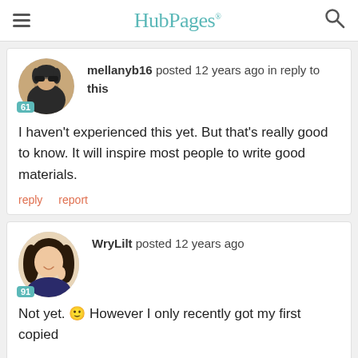HubPages
mellanyb16 posted 12 years ago in reply to this
I haven't experienced this yet. But that's really good to know. It will inspire most people to write good materials.
reply   report
WryLilt posted 12 years ago
Not yet. 🙂 However I only recently got my first copied